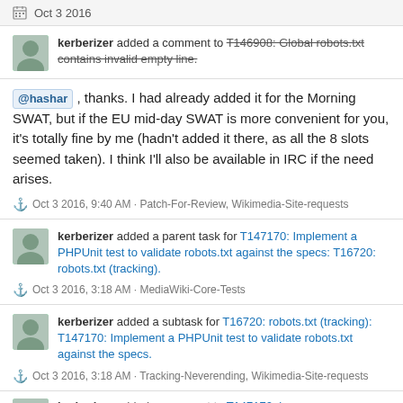Oct 3 2016
kerberizer added a comment to T146908: Global robots.txt contains invalid empty line.
@hashar , thanks. I had already added it for the Morning SWAT, but if the EU mid-day SWAT is more convenient for you, it's totally fine by me (hadn't added it there, as all the 8 slots seemed taken). I think I'll also be available in IRC if the need arises.
Oct 3 2016, 9:40 AM · Patch-For-Review, Wikimedia-Site-requests
kerberizer added a parent task for T147170: Implement a PHPUnit test to validate robots.txt against the specs: T16720: robots.txt (tracking).
Oct 3 2016, 3:18 AM · MediaWiki-Core-Tests
kerberizer added a subtask for T16720: robots.txt (tracking): T147170: Implement a PHPUnit test to validate robots.txt against the specs.
Oct 3 2016, 3:18 AM · Tracking-Neverending, Wikimedia-Site-requests